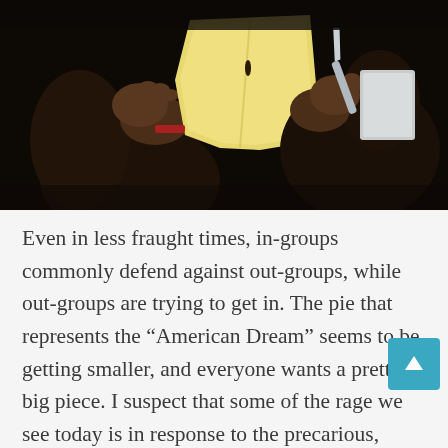[Figure (illustration): A painting showing hands holding papers or documents against a dark background. The figures appear to be in formal attire. Yellow/cream colored paper is prominent in the center.]
Even in less fraught times, in-groups commonly defend against out-groups, while out-groups are trying to get in. The pie that represents the “American Dream” seems to be getting smaller, and everyone wants a pretty big piece. I suspect that some of the rage we see today is in response to the precarious, dangerous, and competitive nature of life itself: the daily indignities, the feelings of helpless, and the sheer dazzling and frightening speed with which things change faster than we can